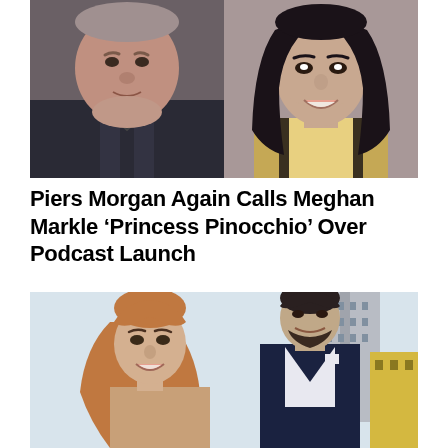[Figure (photo): Two side-by-side photos: left shows an older heavyset man (Piers Morgan) in a dark jacket; right shows a woman (Meghan Markle) with dark hair, smiling, wearing a striped top]
Piers Morgan Again Calls Meghan Markle ‘Princess Pinocchio’ Over Podcast Launch
[Figure (photo): A couple posing outdoors with a city skyline in the background: a woman with long auburn hair (Shakira) and a tall man in a navy suit (Gerard Piqué) smiling together]